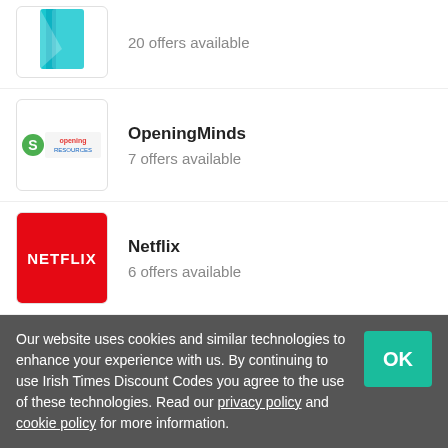[Figure (logo): Partial teal/blue book-like logo at top]
20 offers available
[Figure (logo): OpeningMinds logo with colorful S and text]
OpeningMinds
7 offers available
[Figure (logo): Netflix red logo with white NETFLIX text]
Netflix
6 offers available
The Maths Factor Offers
Deals  7
Our website uses cookies and similar technologies to enhance your experience with us. By continuing to use Irish Times Discount Codes you agree to the use of these technologies. Read our privacy policy and cookie policy for more information.